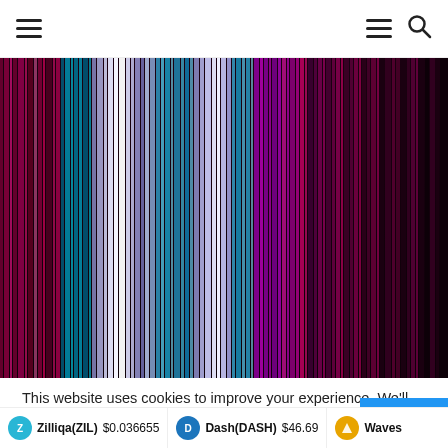Navigation bar with hamburger menu and search icon
[Figure (illustration): Abstract vertical color stripes in shades of magenta, purple, blue, cyan, and dark red/maroon on a dark background]
This website uses cookies to improve your experience. We'll assume you're ok with this, but you can opt-out if you w
Zilliqa(ZIL) $0.036655   Dash(DASH) $46.69   Waves